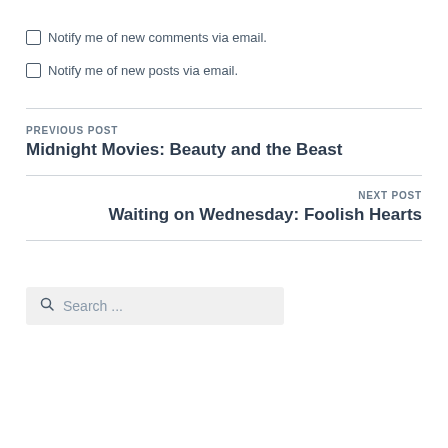Notify me of new comments via email.
Notify me of new posts via email.
PREVIOUS POST
Midnight Movies: Beauty and the Beast
NEXT POST
Waiting on Wednesday: Foolish Hearts
Search ...